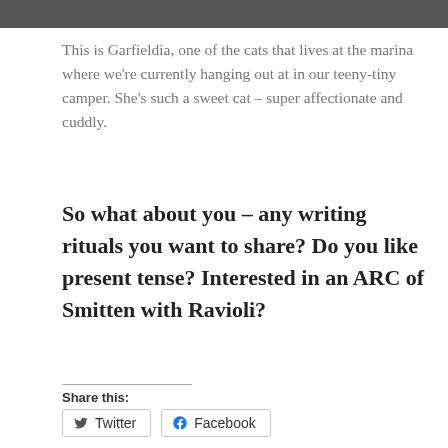[Figure (photo): Partial photo strip at top of page showing a cat at a marina, mostly cropped]
This is Garfieldia, one of the cats that lives at the marina where we're currently hanging out at in our teeny-tiny camper. She's such a sweet cat – super affectionate and cuddly.
So what about you – any writing rituals you want to share? Do you like present tense? Interested in an ARC of Smitten with Ravioli?
Share this:
Twitter   Facebook